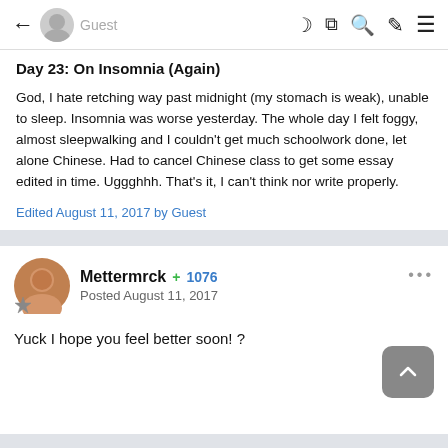← Guest [navigation icons]
Day 23: On Insomnia (Again)
God, I hate retching way past midnight (my stomach is weak), unable to sleep. Insomnia was worse yesterday. The whole day I felt foggy, almost sleepwalking and I couldn't get much schoolwork done, let alone Chinese. Had to cancel Chinese class to get some essay edited in time. Uggghhh. That's it, I can't think nor write properly.
Edited August 11, 2017 by Guest
Mettermrck +1076
Posted August 11, 2017
Yuck I hope you feel better soon! ?